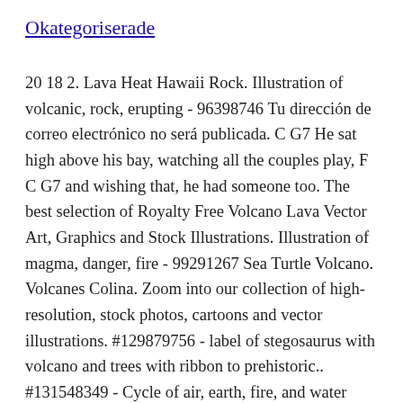Okategoriserade
20 18 2. Lava Heat Hawaii Rock. Illustration of volcanic, rock, erupting - 96398746 Tu dirección de correo electrónico no será publicada. C G7 He sat high above his bay, watching all the couples play, F C G7 and wishing that, he had someone too. The best selection of Royalty Free Volcano Lava Vector Art, Graphics and Stock Illustrations. Illustration of magma, danger, fire - 99291267 Sea Turtle Volcano. Volcanes Colina. Zoom into our collection of high-resolution, stock photos, cartoons and vector illustrations. #129879756 - label of stegosaurus with volcano and trees with ribbon to prehistoric.. #131548349 - Cycle of air, earth, fire, and water with each dragon. 197 186 23. Lava entertainment. Vector collection of solar system planets. Earth Smoke Volcano. Lava Spatters, Flows